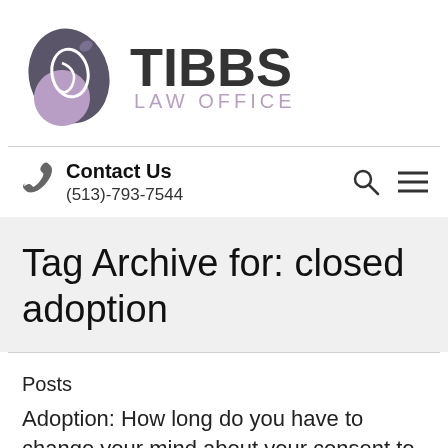[Figure (logo): Tibbs Law Office logo: a stylized dark gray and purple leaf/teardrop shape with a swirl, next to bold text 'TIBBS LAW OFFICE']
Contact Us
(513)-793-7544
Tag Archive for: closed adoption
Posts
Adoption: How long do you have to change your mind about your consent to